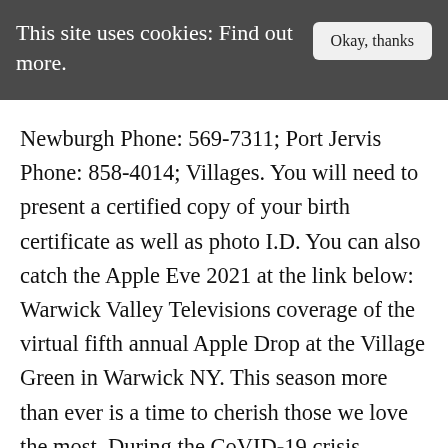This site uses cookies: Find out more.   Okay, thanks
Newburgh Phone: 569-7311; Port Jervis Phone: 858-4014; Villages. You will need to present a certified copy of your birth certificate as well as photo I.D. You can also catch the Apple Eve 2021 at the link below: Warwick Valley Televisions coverage of the virtual fifth annual Apple Drop at the Village Green in Warwick NY. This season more than ever is a time to cherish those we love the most. During the CoVID-19 crisis, Marriage Licenses are by appointment only. Rhode Island residents: You must go to the city/town hall where the bride/groom/spouse resides. In addition, the middle parish...